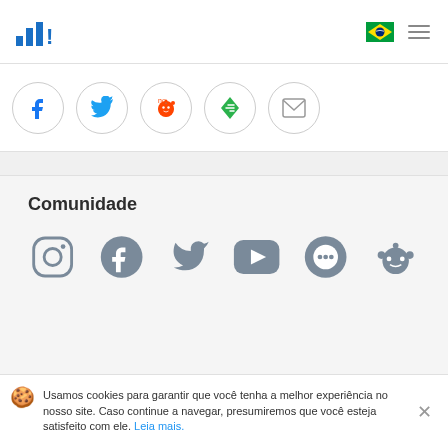Statista logo, Brazilian flag, hamburger menu
[Figure (infographic): Row of social share buttons: Facebook, Twitter, Reddit, Feedly, Email]
Comunidade
[Figure (infographic): Social media community icons: Instagram, Facebook, Twitter, YouTube, Forum/chat, Reddit]
Produtos
Ajuda
Usamos cookies para garantir que você tenha a melhor experiência no nosso site. Caso continue a navegar, presumiremos que você esteja satisfeito com ele. Leia mais.